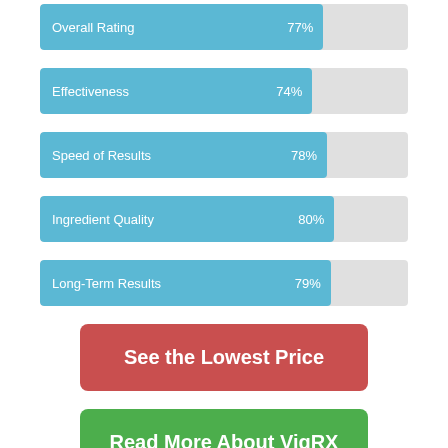[Figure (bar-chart): ]
See the Lowest Price
Read More About VigRX
VigRX has an ingredient list that consists of 11 ingredients, with the final being